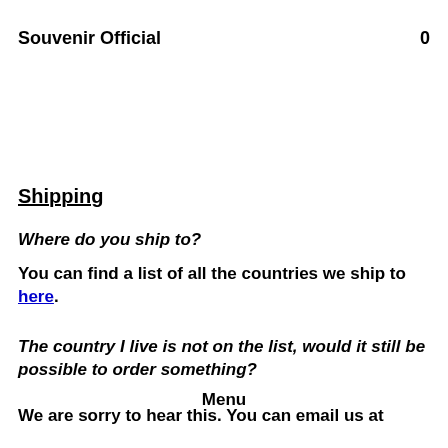Souvenir Official     0
Shipping
Where do you ship to?
You can find a list of all the countries we ship to here.
The country I live is not on the list, would it still be possible to order something?
We are sorry to hear this. You can email us at
Menu